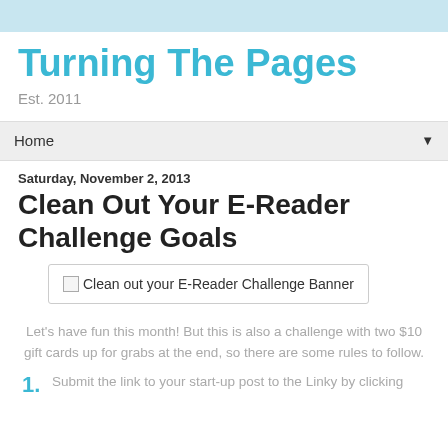Turning The Pages
Est. 2011
Home
Saturday, November 2, 2013
Clean Out Your E-Reader Challenge Goals
[Figure (other): Clean out your E-Reader Challenge Banner image (broken image placeholder)]
Let's have fun this month! But this is also a challenge with two $10 gift cards up for grabs at the end, so there are some rules to follow.
1. Submit the link to your start-up post to the Linky by clicking